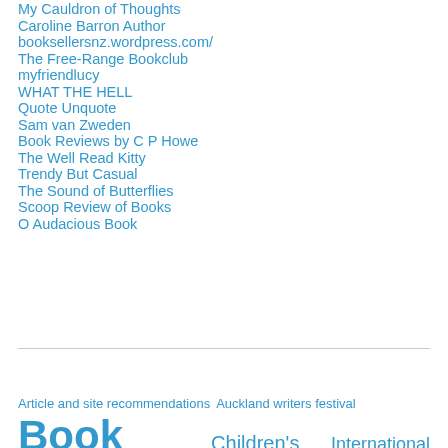My Cauldron of Thoughts
Caroline Barron Author
booksellersnz.wordpress.com/
The Free-Range Bookclub
myfriendlucy
WHAT THE HELL
Quote Unquote
Sam van Zweden
Book Reviews by C P Howe
The Well Read Kitty
Trendy But Casual
The Sound of Butterflies
Scoop Review of Books
O Audacious Book
Article and site recommendations  Auckland writers festival  Book review  Children's Books  International